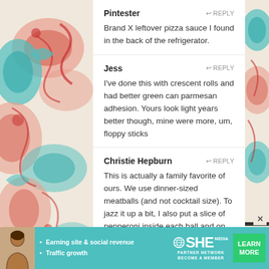Pintester
Brand X leftover pizza sauce I found in the back of the refrigerator.
Jess
I've done this with crescent rolls and had better green can parmesan adhesion. Yours look light years better though, mine were more, um, floppy sticks
Christie Hepburn
This is actually a family favorite of ours. We use dinner-sized meatballs (and not cocktail size). To jazz it up a bit, I also put a slice of pepperoni inside each ball and on top I brush on olive oil and sprinkle on some italian seasonings. The olive oil helps the seasonings and shredded cheese stick to the top.
Catherine
[Figure (infographic): SHE Partner Network advertisement banner with learn more button, bullet points: Earning site & social revenue, Traffic growth]